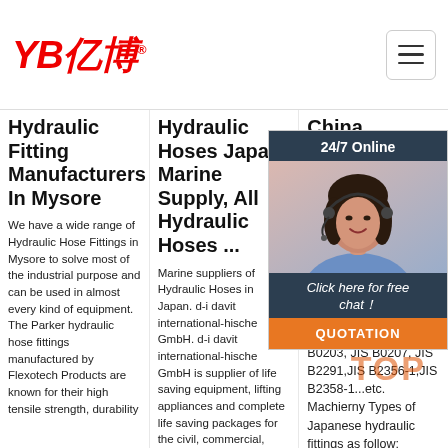YB亿博
Hydraulic Fitting Manufacturers In Mysore
We have a wide range of Hydraulic Hose Fittings in Mysore to solve most of the industrial purpose and can be used in almost every kind of equipment. The Parker hydraulic hose fittings manufactured by Flexotech Products are known for their high tensile strength, durability
Hydraulic Hoses Japan Marine Supply, All Hydraulic Hoses ...
Marine suppliers of Hydraulic Hoses in Japan. d-i davit international-hische GmbH. d-i davit international-hische GmbH is supplier of life saving equipment, lifting appliances and complete life saving packages for the civil, commercial, military and special shipbuilding. We
China Custom Ja... Hy... Fit... Ma... ...
Jap... ada... con... indu... such as JIS B0202, JIS B0203, JIS B0207, JIS B2291,JIS B2356-1,JIS B2358-1...etc. Machierny Types of Japanese hydraulic fittings as follow:
[Figure (photo): Customer service representative with headset, smiling, with 24/7 Online banner and chat widget overlay including 'Click here for free chat!' and QUOTATION button]